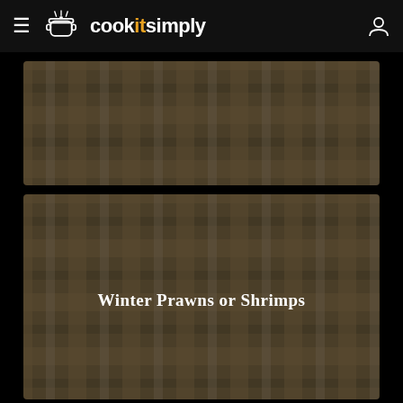cookitsimply
[Figure (photo): Plaid/tartan textured background image card 1, no text]
[Figure (photo): Plaid/tartan textured background image card 2 with centered text 'Winter Prawns or Shrimps']
Winter Prawns or Shrimps
[Figure (photo): Plaid/tartan textured background image card 3, no text, partially visible]